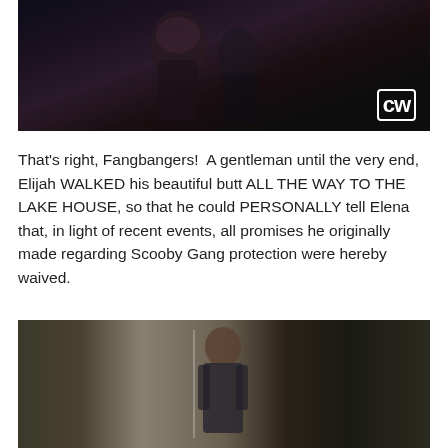[Figure (photo): Dark screenshot from a TV show (The Vampire Diaries on The CW) showing two people, a young woman in the foreground and a man behind her, with the CW network logo in the bottom right corner.]
That's right, Fangbangers!  A gentleman until the very end, Elijah WALKED his beautiful butt ALL THE WAY TO THE LAKE HOUSE, so that he could PERSONALLY tell Elena that, in light of recent events, all promises he originally made regarding Scooby Gang protection were hereby waived.
[Figure (photo): Screenshot from a TV show showing a man in a suit standing in a doorway, looking serious, with a split-panel composition showing a lighter outdoor scene on the left and an indoor scene on the right.]